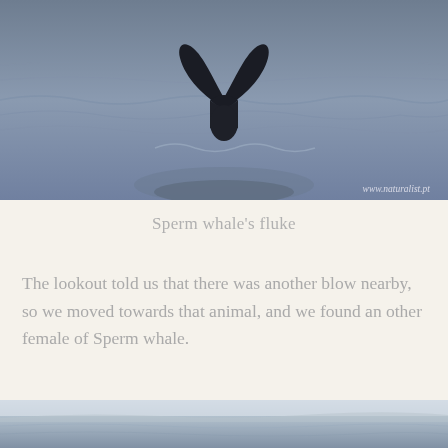[Figure (photo): A sperm whale's fluke (tail) rising above dark ocean water, photographed from a boat. The water is dark blue-gray and choppy. Watermark reads www.naturalist.pt in the bottom right corner.]
Sperm whale's fluke
The lookout told us that there was another blow nearby, so we moved towards that animal, and we found an other female of Sperm whale.
[Figure (photo): A misty ocean horizon photograph showing calm gray water meeting a hazy sky.]